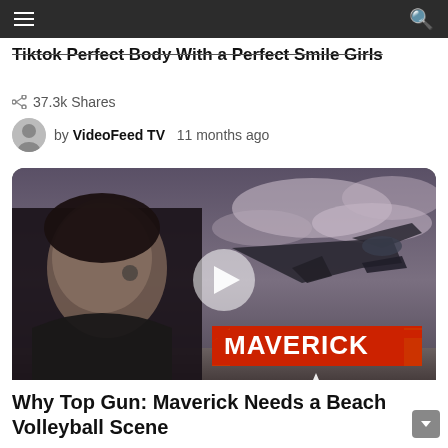Tiktok Perfect Body With a Perfect Smile Girls
37.3k Shares
by VideoFeed TV  11 months ago
[Figure (screenshot): Top Gun: Maverick movie promotional image showing a man in a leather jacket with a fighter jet in the background and the MAVERICK logo, with a video play button overlay]
Why Top Gun: Maverick Needs a Beach Volleyball Scene